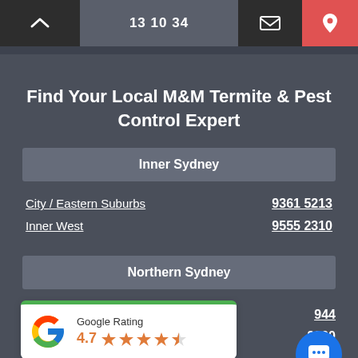13 10 34
Find Your Local M&M Termite & Pest Control Expert
Inner Sydney
City / Eastern Suburbs   9361 5213
Inner West   9555 2310
Northern Sydney
94...4   99...00
[Figure (logo): Google Rating widget showing 4.7 stars with Google G logo]